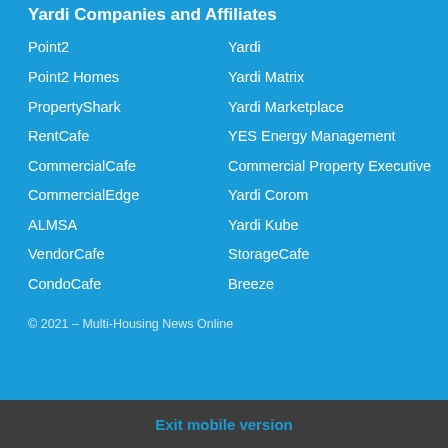Yardi Companies and Affiliates
Point2
Yardi
Point2 Homes
Yardi Matrix
PropertyShark
Yardi Marketplace
RentCafe
YES Energy Management
CommercialCafe
Commercial Property Executive
CommercialEdge
Yardi Corom
ALMSA
Yardi Kube
VendorCafe
StorageCafe
CondoCafe
Breeze
© 2021 – Multi-Housing News Online
Exit mobile version